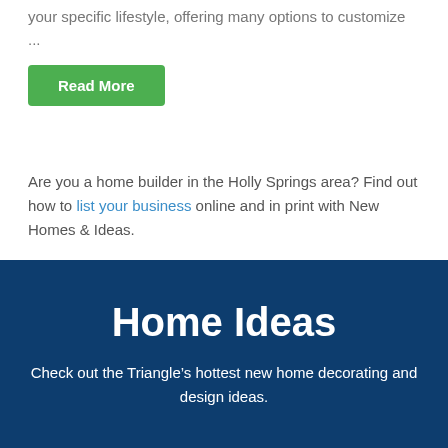your specific lifestyle, offering many options to customize ...
Read More
Are you a home builder in the Holly Springs area? Find out how to list your business online and in print with New Homes & Ideas.
Home Ideas
Check out the Triangle’s hottest new home decorating and design ideas.